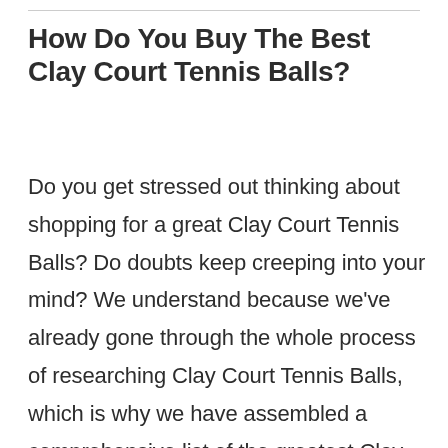How Do You Buy The Best Clay Court Tennis Balls?
Do you get stressed out thinking about shopping for a great Clay Court Tennis Balls? Do doubts keep creeping into your mind? We understand because we've already gone through the whole process of researching Clay Court Tennis Balls, which is why we have assembled a comprehensive list of the greatest Clay Court Tennis Balls available in the current market. We've also come up with a list of